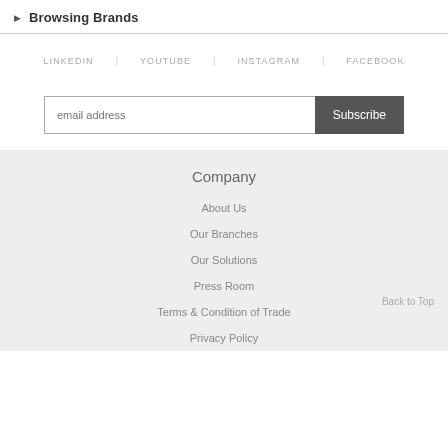Browsing Brands
LINKEDIN   YOUTUBE   INSTAGRAM   FACEBOOK
email address  Subscribe
Company
About Us
Our Branches
Our Solutions
Press Room
Terms & Condition of Trade
Privacy Policy
Back to Top